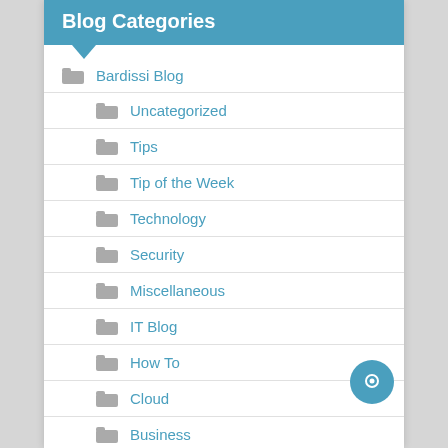Blog Categories
Bardissi Blog
Uncategorized
Tips
Tip of the Week
Technology
Security
Miscellaneous
IT Blog
How To
Cloud
Business